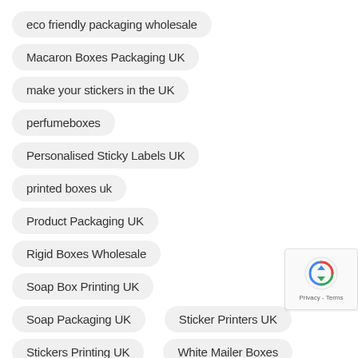eco friendly packaging wholesale
Macaron Boxes Packaging UK
make your stickers in the UK
perfumeboxes
Personalised Sticky Labels UK
printed boxes uk
Product Packaging UK
Rigid Boxes Wholesale
Soap Box Printing UK
Soap Packaging UK
Sticker Printers UK
Stickers Printing UK
White Mailer Boxes